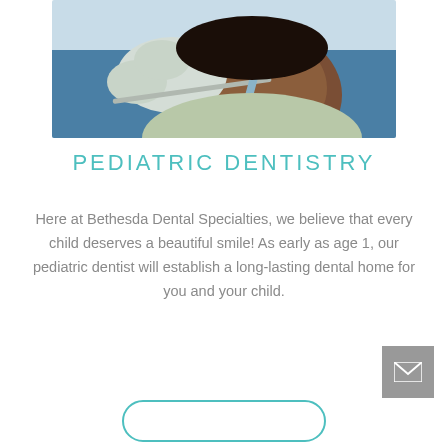[Figure (photo): A child patient receiving dental examination; gloved hands holding dental tools near the child's open mouth]
PEDIATRIC DENTISTRY
Here at Bethesda Dental Specialties, we believe that every child deserves a beautiful smile! As early as age 1, our pediatric dentist will establish a long-lasting dental home for you and your child.